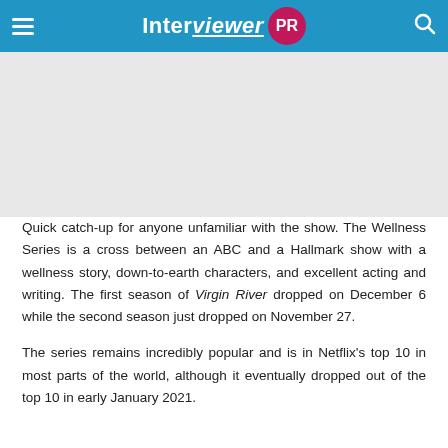Interviewer PR
[Figure (other): Advertisement placeholder area (gray background)]
Quick catch-up for anyone unfamiliar with the show. The Wellness Series is a cross between an ABC and a Hallmark show with a wellness story, down-to-earth characters, and excellent acting and writing. The first season of Virgin River dropped on December 6 while the second season just dropped on November 27.
The series remains incredibly popular and is in Netflix's top 10 in most parts of the world, although it eventually dropped out of the top 10 in early January 2021.